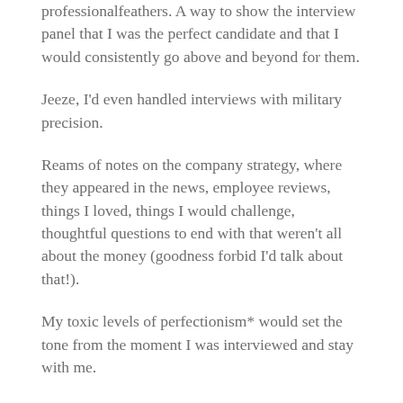professionalfeathers. A way to show the interview panel that I was the perfect candidate and that I would consistently go above and beyond for them.
Jeeze, I'd even handled interviews with military precision.
Reams of notes on the company strategy, where they appeared in the news, employee reviews, things I loved, things I would challenge, thoughtful questions to end with that weren't all about the money (goodness forbid I'd talk about that!).
My toxic levels of perfectionism* would set the tone from the moment I was interviewed and stay with me.